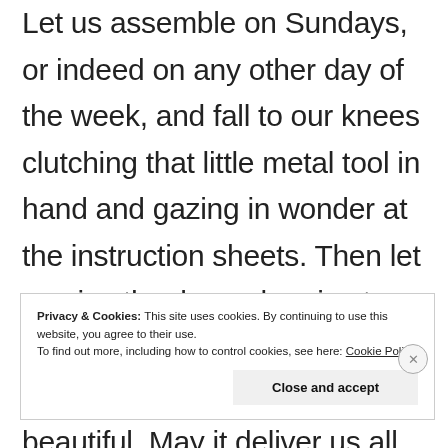Let us assemble on Sundays, or indeed on any other day of the week, and fall to our knees clutching that little metal tool in hand and gazing in wonder at the instruction sheets. Then let us give thanks and praise to IKEA, our saviour, creator of (nearly) all things bright and beautiful. May it deliver us all and hopefully on the allotted day.
Privacy & Cookies: This site uses cookies. By continuing to use this website, you agree to their use. To find out more, including how to control cookies, see here: Cookie Policy